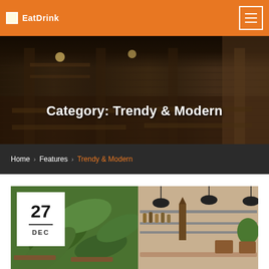EatDrink | [hamburger menu]
[Figure (photo): Dark interior of a restaurant with brick walls, hanging lights, wooden tables and shelving]
Category: Trendy & Modern
Home › Features › Trendy & Modern
[Figure (photo): Cafe/restaurant interior with tropical leaf wallpaper mural on left and bar shelving on right side. Date badge showing 27 DEC overlaid on lower left.]